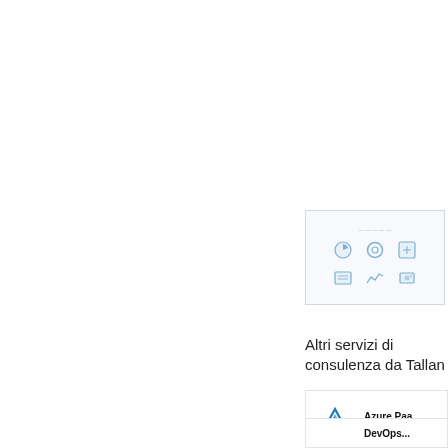[Figure (screenshot): Small thumbnail screenshot of a UI dashboard with blue icons arranged in a 2x3 grid showing various service metrics and charts]
Altri servizi di consulenza da Tallan
[Figure (infographic): Card showing Azure PaaS service by Tallan with the Tallan logo (blue triangle mountain mark above the TALLAN wordmark), title 'Azure Paa...' and 'Di Tallan']
[Figure (infographic): Card showing DevOps service, partially visible at bottom of page]